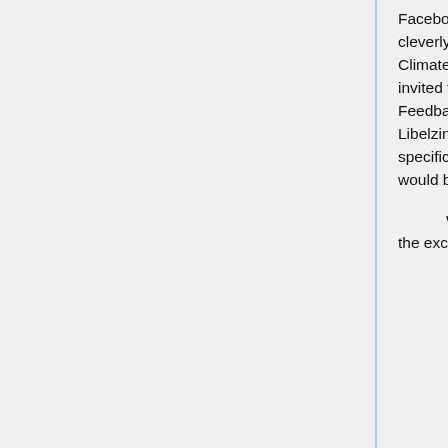Facebook that is immune, it is Climate Feedback, if they set themselves up cleverly. Facebook says Climate Feedback provided the content. But did they? If Climate Feedback did not pay its authors, and merely let them post there, or even invited them but did not tell them what to write, then they are not agents of Climate Feedback and so Climate Feedback can push the liability off on the authors. Libelzine can be a stand-alone operation. I, Eric Rasmusen, could set up a website specifically devoted to defaming non-public persons, advertising that fact, and I would be immune from suit, by Section 230.
We could perhaps go a step further, tho I haven't looked closely enough at the exceptions in Section 230 in writing this. How about if Eric Rasmusen sets